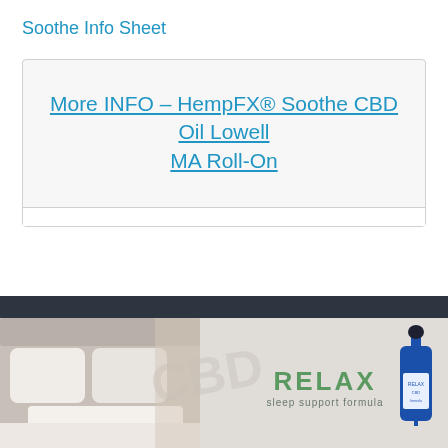Soothe Info Sheet
More INFO – HempFX® Soothe CBD Oil Lowell MA Roll-On
[Figure (photo): Banner advertisement showing a bed with white pillows on the left, a watermark CBD logo in the center, green RELAX text with 'sleep support formula' subtitle, and a blue dropper bottle on the right. A blue accessibility wheelchair icon button overlaps the bottom-left.]